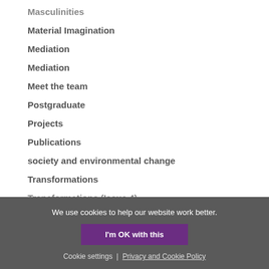Masculinities
Material Imagination
Mediation
Mediation
Meet the team
Postgraduate
Projects
Publications
society and environmental change
Transformations
Transformations (Issue 4)
We use cookies to help our website work better.
I'm OK with this
Cookie settings | Privacy and Cookie Policy